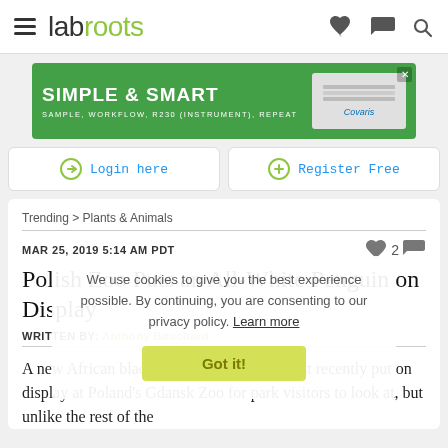labroots
[Figure (other): Advertisement banner: green background, text 'SIMPLE & SMART / SAMPLE, WORKFLOW, R230 (INSTRUMENT), REPEAT' with Covaris device image]
Login here
Register Free
Trending > Plants & Animals
MAR 25, 2019 5:14 AM PDT
Polish Zoo Puts an All-White Penguin on Display
WRITTEN BY: Anthony Bouchard
A new African black-footed penguin was just recently put on display at Poland's Gdansk Zoo for park visitors to look at, but unlike the rest of the
We use cookies to give you the best experience possible. By continuing, you are consenting to our privacy policy. Learn more
Got it!